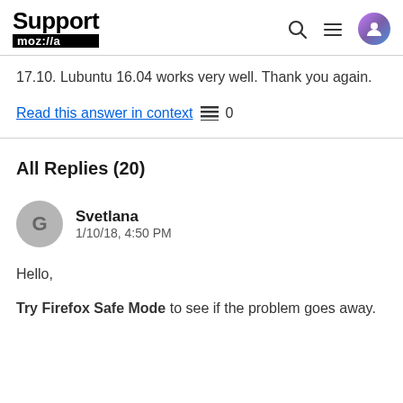Support mozilla // [icons: search, menu, user]
17.10. Lubuntu 16.04 works very well. Thank you again.
Read this answer in context 0
All Replies (20)
Svetlana
1/10/18, 4:50 PM
Hello,
Try Firefox Safe Mode to see if the problem goes away.